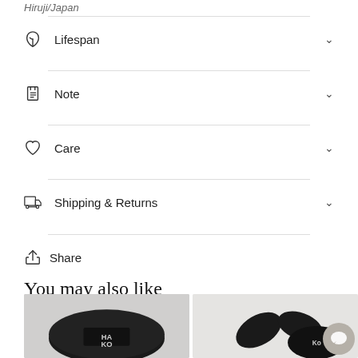Hiruji/Japan
Lifespan
Note
Care
Shipping & Returns
Share
You may also like
[Figure (photo): Two product photos side by side at the bottom of the page. Left image shows a dark round tin with HA KO branding. Right image shows dark leaf-shaped objects with KO branding.]